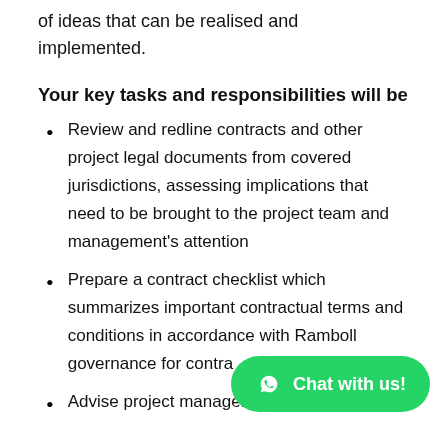of ideas that can be realised and implemented.
Your key tasks and responsibilities will be
Review and redline contracts and other project legal documents from covered jurisdictions, assessing implications that need to be brought to the project team and management's attention
Prepare a contract checklist which summarizes important contractual terms and conditions in accordance with Ramboll governance for contra...
Advise project managers on risks related to